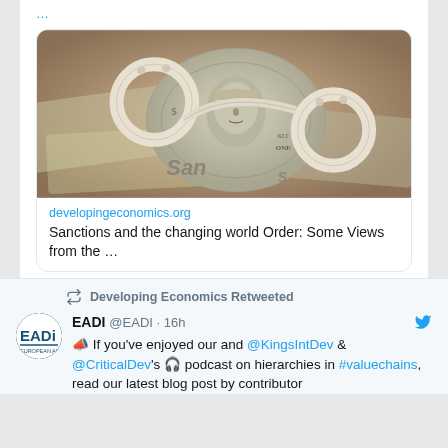…
[Figure (photo): Photo showing a rolled-up $100 bill inside handcuffs on a background of other dollar bills, with the word 'Sanctions' partially visible]
developingeconomics.org
Sanctions and the changing world Order: Some Views from the …
♡ 7
Developing Economics Retweeted
[Figure (logo): EADI logo in blue text on white background]
EADI @EADI · 16h
📣 If you've enjoyed our and @KingsIntDev & @CriticalDev's 🎧 podcast on hierarchies in #valuechains, read our latest blog post by contributor